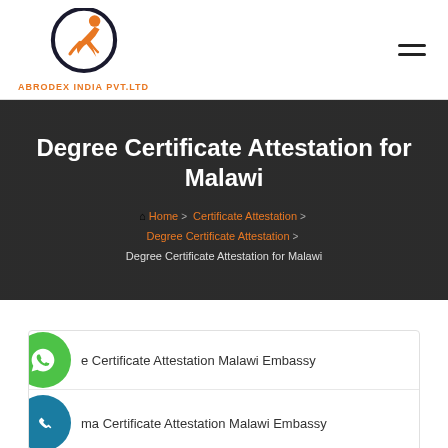ABRODEX INDIA PVT.LTD
Degree Certificate Attestation for Malawi
Home > Certificate Attestation > Degree Certificate Attestation > Degree Certificate Attestation for Malawi
Degree Certificate Attestation Malawi Embassy
Diploma Certificate Attestation Malawi Embassy
Mark Sheet Attestation Malawi Embassy